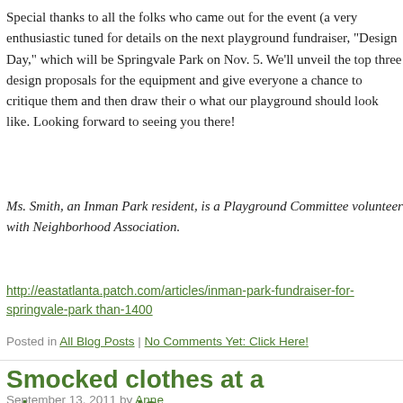Special thanks to all the folks who came out for the event (a very enthusiastic tuned for details on the next playground fundraiser, "Design Day," which will be Springvale Park on Nov. 5. We'll unveil the top three design proposals for the equipment and give everyone a chance to critique them and then draw their o what our playground should look like. Looking forward to seeing you there!
Ms. Smith, an Inman Park resident, is a Playground Committee volunteer with Neighborhood Association.
http://eastatlanta.patch.com/articles/inman-park-fundraiser-for-springvale-park than-1400
Posted in All Blog Posts | No Comments Yet: Click Here!
Smocked clothes at a playground?
September 13, 2011 by Anne
Would you let your child wear this to play at a playground?
[Figure (photo): Small image placeholder square]
I grew up wearing all sorts of smocked things. My husband grew up wearing